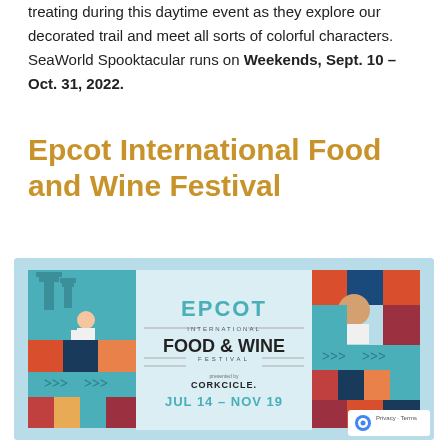treating during this daytime event as they explore our decorated trail and meet all sorts of colorful characters. SeaWorld Spooktacular runs on Weekends, Sept. 10 – Oct. 31, 2022.
Epcot International Food and Wine Festival
[Figure (illustration): Epcot International Food and Wine Festival promotional banner with illustrated characters and colorful mosaic panels. Center text reads EPCOT INTERNATIONAL FOOD & WINE FESTIVAL presented by CORKCICLE. JUL 14 – NOV 19. Light blue background with illustrated chef characters and decorative tile panels on either side.]